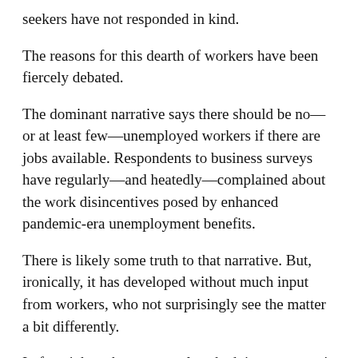seekers have not responded in kind.
The reasons for this dearth of workers have been fiercely debated.
The dominant narrative says there should be no—or at least few—unemployed workers if there are jobs available. Respondents to business surveys have regularly—and heatedly—complained about the work disincentives posed by enhanced pandemic-era unemployment benefits.
There is likely some truth to that narrative. But, ironically, it has developed without much input from workers, who not surprisingly see the matter a bit differently.
In fact, job seekers are rarely asked, in a systematic way, about their views of, and experiences in, the labor market. This has led to a systematic lack of information from